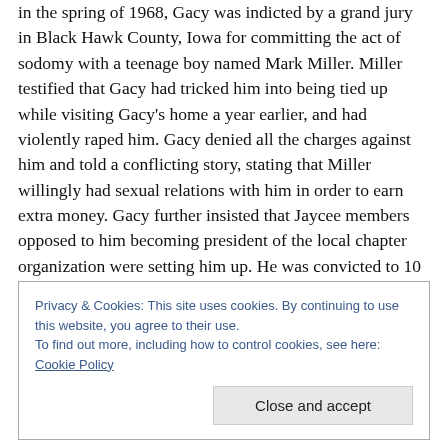in the spring of 1968, Gacy was indicted by a grand jury in Black Hawk County, Iowa for committing the act of sodomy with a teenage boy named Mark Miller. Miller testified that Gacy had tricked him into being tied up while visiting Gacy's home a year earlier, and had violently raped him. Gacy denied all the charges against him and told a conflicting story, stating that Miller willingly had sexual relations with him in order to earn extra money. Gacy further insisted that Jaycee members opposed to him becoming president of the local chapter organization were setting him up. He was convicted to 10 years in prison
Privacy & Cookies: This site uses cookies. By continuing to use this website, you agree to their use.
To find out more, including how to control cookies, see here: Cookie Policy